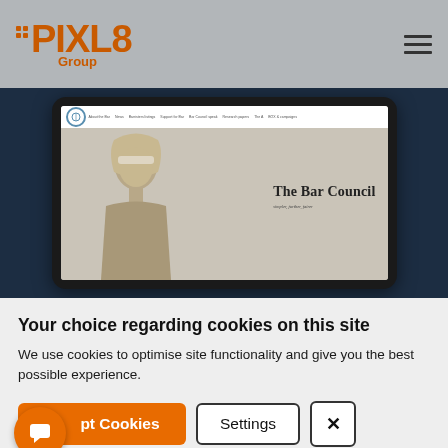PIXL8 Group
[Figure (screenshot): Screenshot of The Bar Council website displayed on a tablet device, showing a navigation bar and a hero image with a blindfolded justice statue and the text 'The Bar Council']
Your choice regarding cookies on this site
We use cookies to optimise site functionality and give you the best possible experience.
Accept Cookies | Settings | X (close)